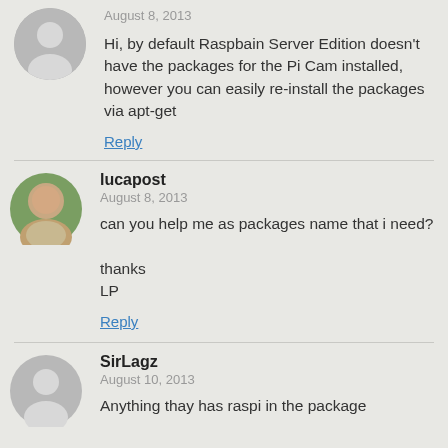August 8, 2013
Hi, by default Raspbain Server Edition doesn't have the packages for the Pi Cam installed, however you can easily re-install the packages via apt-get
Reply
lucapost
August 8, 2013
can you help me as packages name that i need?

thanks
LP
Reply
SirLagz
August 10, 2013
Anything thay has raspi in the package